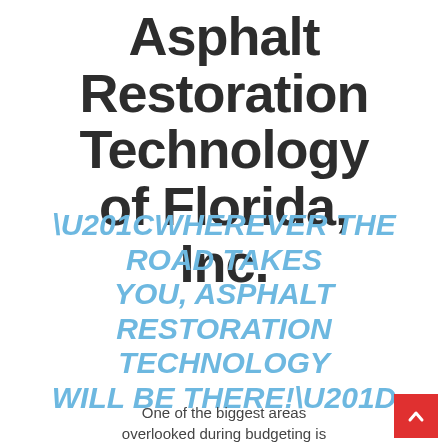Asphalt Restoration Technology of Florida, Inc.
“WHEREVER THE ROAD TAKES YOU, ASPHALT RESTORATION TECHNOLOGY WILL BE THERE!”
One of the biggest areas overlooked during budgeting is